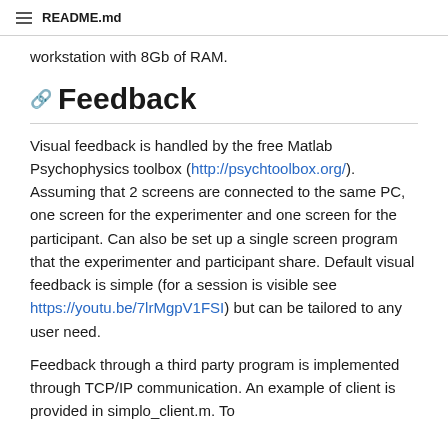README.md
workstation with 8Gb of RAM.
Feedback
Visual feedback is handled by the free Matlab Psychophysics toolbox (http://psychtoolbox.org/). Assuming that 2 screens are connected to the same PC, one screen for the experimenter and one screen for the participant. Can also be set up a single screen program that the experimenter and participant share. Default visual feedback is simple (for a session is visible see https://youtu.be/7lrMgpV1FSI) but can be tailored to any user need.
Feedback through a third party program is implemented through TCP/IP communication. An example of client is provided in simplo_client.m. To